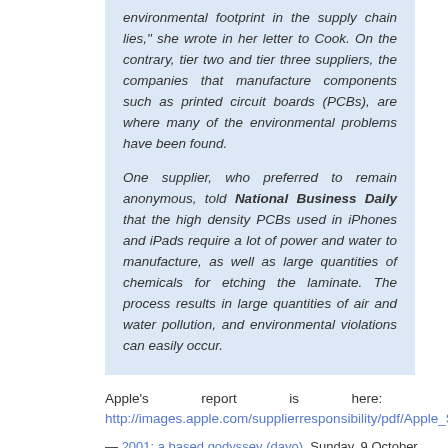environmental footprint in the supply chain lies," she wrote in her letter to Cook. On the contrary, tier two and tier three suppliers, the companies that manufacture components such as printed circuit boards (PCBs), are where many of the environmental problems have been found.

One supplier, who preferred to remain anonymous, told National Business Daily that the high density PCBs used in iPhones and iPads require a lot of power and water to manufacture, as well as large quantities of chemicals for etching the laminate. The process results in large quantities of air and water pollution, and environmental violations can easily occur.
Apple's report is here: http://images.apple.com/supplierresponsibility/pdf/Apple_SR_2011_P
— 2001: a based godyssey (dayo), Sunday, 9 October 2011 12:07 (ten years ago) link
b-b-but they look so SLEEK!